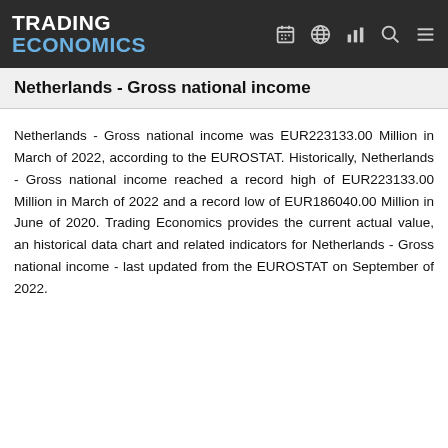TRADING ECONOMICS
Netherlands - Gross national income
Netherlands - Gross national income was EUR223133.00 Million in March of 2022, according to the EUROSTAT. Historically, Netherlands - Gross national income reached a record high of EUR223133.00 Million in March of 2022 and a record low of EUR186040.00 Million in June of 2020. Trading Economics provides the current actual value, an historical data chart and related indicators for Netherlands - Gross national income - last updated from the EUROSTAT on September of 2022.